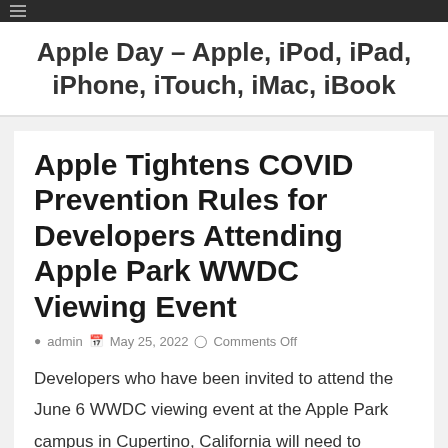Apple Day – Apple, iPod, iPad, iPhone, iTouch, iMac, iBook
Apple Tightens COVID Prevention Rules for Developers Attending Apple Park WWDC Viewing Event
admin  May 25, 2022  Comments Off
Developers who have been invited to attend the June 6 WWDC viewing event at the Apple Park campus in Cupertino, California will need to adhere to stricter COVID prevention rules that Apple has recently implemented.